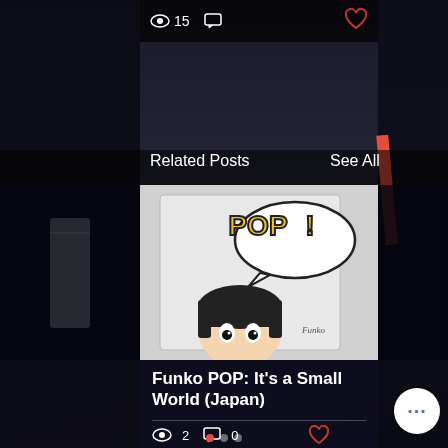👁 15  💬  ♡
Related Posts
See All
[Figure (photo): Funko POP! vinyl figure box featuring a small world Japan character with black hair, bubble speech saying POP! in yellow, Funko logo visible]
Funko POP: It's a Small World (Japan)
👁 2  💬 0  ♡